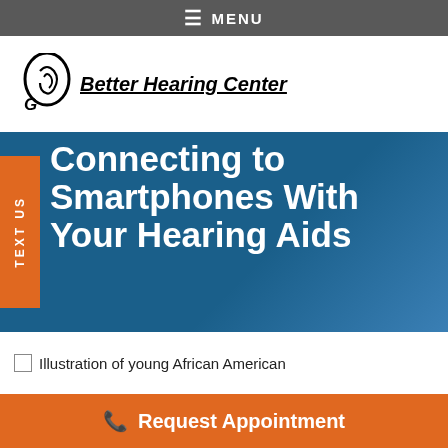MENU
[Figure (logo): Better Hearing Center logo with ear icon]
Connecting to Smartphones With Your Hearing Aids
TEXT US
[Figure (illustration): Illustration of young African American]
Request Appointment